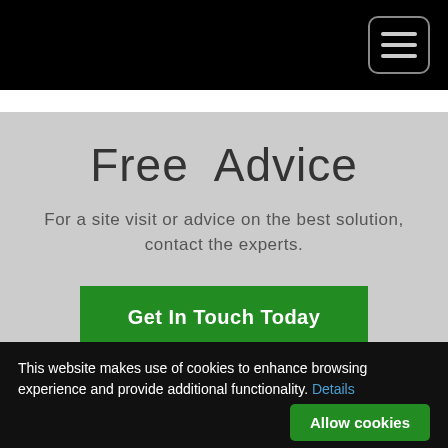[hamburger menu icon]
Free Advice
For a site visit or advice on the best solution, contact the experts.
Get In Touch Today
This website makes use of cookies to enhance browsing experience and provide additional functionality. Details
Allow cookies